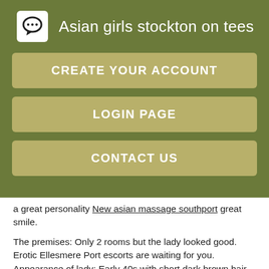Asian girls stockton on tees
CREATE YOUR ACCOUNT
LOGIN PAGE
CONTACT US
a great personality New asian massage southport great smile.
The premises: Only 2 rooms but the lady looked good. Erotic Ellesmere Port escorts are waiting for you. Appearance of lady: Early 40s with short dark brown hair. Hi gentlemen. I'm from the Caribbean with the spice age 24 I have an incredibly body with silky smooth skin, soft black hair and brown eyes.
If you are looking for a perfect Erotic massage or a sexiest Asian